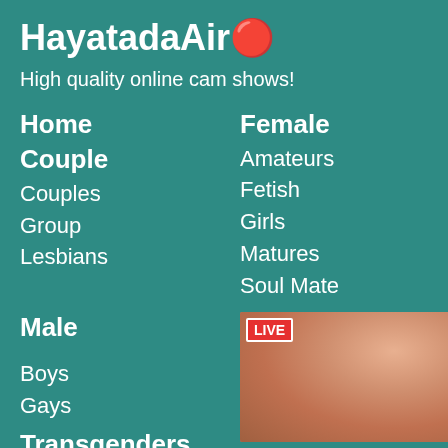HayatadaAir🔴
High quality online cam shows!
Home
Couple
Couples
Group
Lesbians
Female
Amateurs
Fetish
Girls
Matures
Soul Mate
Male
Boys
Gays
[Figure (photo): Live cam show thumbnail with LIVE badge overlay, showing a person]
Transgenders